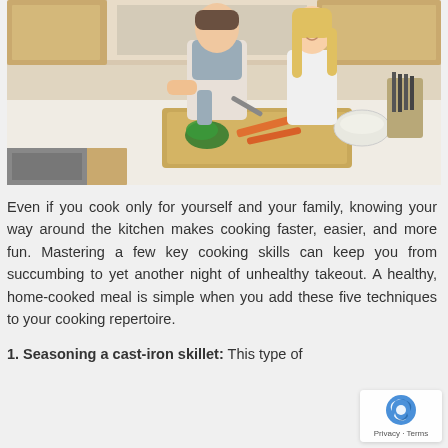[Figure (photo): A couple cooking together in a modern kitchen. A man in a grey t-shirt and white apron is chopping vegetables (broccoli, carrots) on a wooden cutting board. A woman with blonde hair stands beside him. Kitchen cabinets, appliances, and a knife block are visible in the background.]
Even if you cook only for yourself and your family, knowing your way around the kitchen makes cooking faster, easier, and more fun. Mastering a few key cooking skills can keep you from succumbing to yet another night of unhealthy takeout. A healthy, home-cooked meal is simple when you add these five techniques to your cooking repertoire.
1. Seasoning a cast-iron skillet: This type of